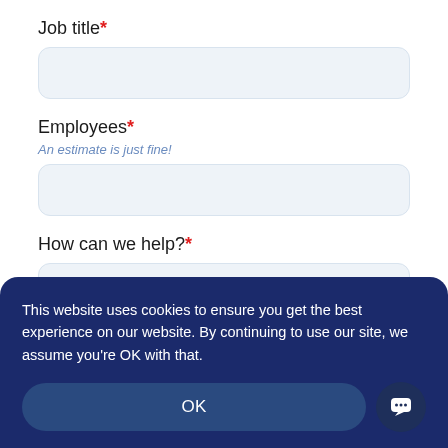Job title*
[Figure (screenshot): Empty text input field for Job title]
Employees*
An estimate is just fine!
[Figure (screenshot): Empty text input field for Employees]
How can we help?*
[Figure (screenshot): Empty textarea field for How can we help?]
This website uses cookies to ensure you get the best experience on our website. By continuing to use our site, we assume you're OK with that.
OK